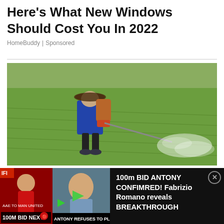Here's What New Windows Should Cost You In 2022
HomeBuddy | Sponsored
[Figure (photo): A farmer wearing a hat and backpack sprayer spraying pesticide over a green rice paddy field]
[Figure (screenshot): Advertisement banner with dark background showing a football video thumbnail with text '100m BID NEXT! AAE TO MAN UNITED' and 'ANTONY REFUSES TO PLAY', alongside text '100m BID ANTONY CONFIMRED! Fabrizio Romano reveals BREAKTHROUGH' with a close button]